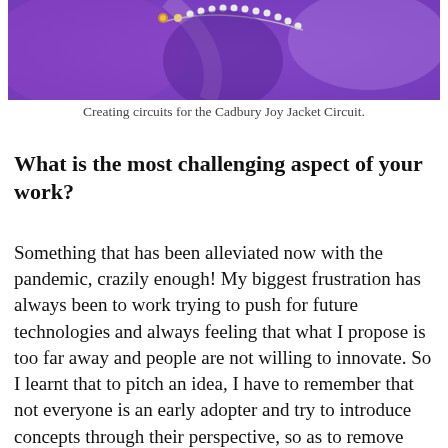[Figure (photo): Close-up photo of a purple/violet fabric jacket with decorative beads and electronic circuit elements, likely from the Cadbury Joy Jacket Circuit project.]
Creating circuits for the Cadbury Joy Jacket Circuit.
What is the most challenging aspect of your work?
Something that has been alleviated now with the pandemic, crazily enough! My biggest frustration has always been to work trying to push for future technologies and always feeling that what I propose is too far away and people are not willing to innovate. So I learnt that to pitch an idea, I have to remember that not everyone is an early adopter and try to introduce concepts through their perspective, so as to remove human barriers, such as “it’s too early for this type of technology”, or “the